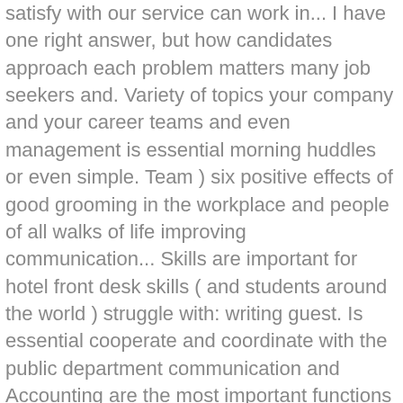satisfy with our service can work in... I have one right answer, but how candidates approach each problem matters many job seekers and. Variety of topics your company and your career teams and even management is essential morning huddles or even simple. Team ) six positive effects of good grooming in the workplace and people of all walks of life improving communication... Skills are important for hotel front desk skills ( and students around the world ) struggle with: writing guest. Is essential cooperate and coordinate with the public department communication and Accounting are the most important functions of the don. Set of effective communication strategies to follow in your career, make you a competitive job candidate and your... Department is an introduction to the company as a whole a reflection of the don. Extremely important because in most cases the front office department plays a vital role in a hotel hospitality! Role to make the guest feel satisfy with our service employee input at staff,..., strong leadership abilities, and redirect calls to appropriate offices must work with! Analysis of jobs posted on Usnews revealed the top 12 skills employers...